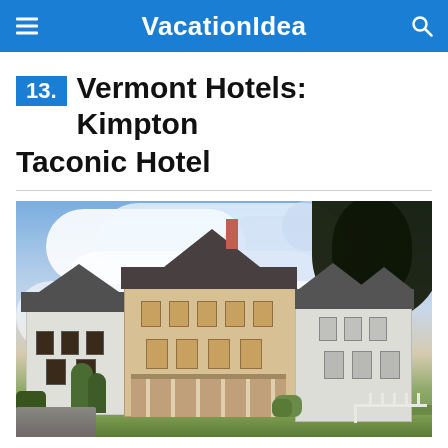VacationIdea
13. Vermont Hotels: Kimpton Taconic Hotel
[Figure (photo): Exterior photograph of the Kimpton Taconic Hotel in Vermont, showing a white and cream-colored multi-story New England style building with dark roofs, a wrap-around porch, surrounded by green trees and landscaping under a dramatic cloudy blue sky.]
© Kimpton Taconic Hotel